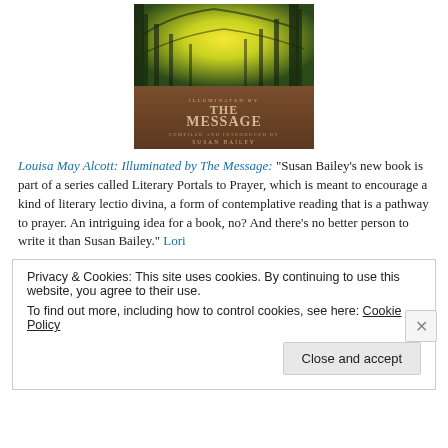[Figure (photo): Book cover of 'Louisa May Alcott: Illuminated by The Message' compiled and introduced by Susan Bailey. Features forest trees with bright yellow light from above, and a brown lower panel with the title text.]
Louisa May Alcott: Illuminated by The Message: “Susan Bailey’s new book is part of a series called Literary Portals to Prayer, which is meant to encourage a kind of literary lectio divina, a form of contemplative reading that is a pathway to prayer. An intriguing idea for a book, no? And there’s no better person to write it than Susan Bailey.” Lori
Privacy & Cookies: This site uses cookies. By continuing to use this website, you agree to their use.
To find out more, including how to control cookies, see here: Cookie Policy